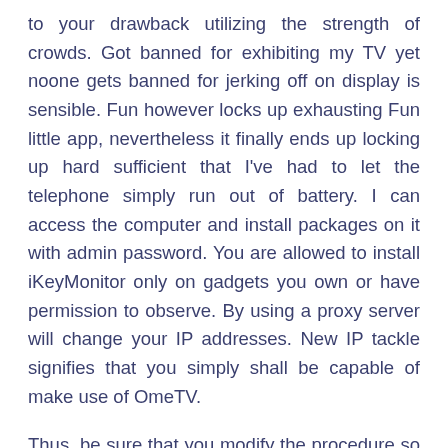to your drawback utilizing the strength of crowds. Got banned for exhibiting my TV yet noone gets banned for jerking off on display is sensible. Fun however locks up exhausting Fun little app, nevertheless it finally ends up locking up hard sufficient that I've had to let the telephone simply run out of battery. I can access the computer and install packages on it with admin password. You are allowed to install iKeyMonitor only on gadgets you own or have permission to observe. By using a proxy server will change your IP addresses. New IP tackle signifies that you simply shall be capable of make use of OmeTV.
Thus, be sure that you modify the procedure so you'll have the ability to entry the applying. Just click on a button or swipe and we join you to a random stranger immediately. Although these platforms provide related firms, they do not appear to be affiliated, and they are completely different in a few of their features. If you might be utilizing Omegle,